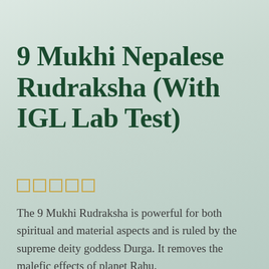9 Mukhi Nepalese Rudraksha (With IGL Lab Test)
The 9 Mukhi Rudraksha is powerful for both spiritual and material aspects and is ruled by the supreme deity goddess Durga. It removes the malefic effects of planet Rahu.